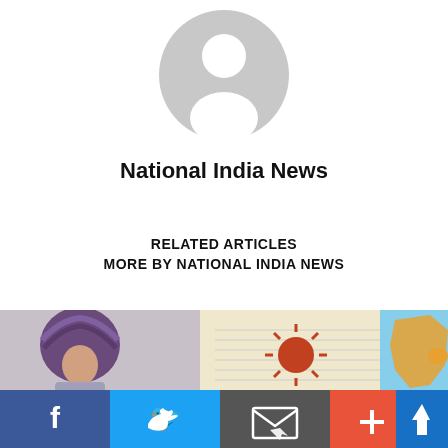[Figure (illustration): Default avatar/profile placeholder circle with grey background and white silhouette of a person]
National India News
RELATED ARTICLES
MORE BY NATIONAL INDIA NEWS
[Figure (photo): A collage of three images side by side: left shows a person with purple turban/dastar, center shows a drawing of a sun on paper, right shows a map puzzle piece of India in blue]
[Figure (infographic): Footer social sharing bar with Facebook (blue), Twitter (light blue), Email (grey), Plus (orange-red), and Up arrow (blue) buttons]